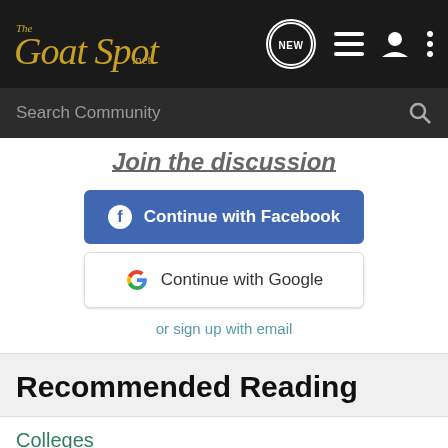The Goat Spot .net
Search Community
Join the discussion
Continue with Facebook
Continue with Google
or sign up with email
Recommended Reading
Colleges
The Chatter Box
31  3K